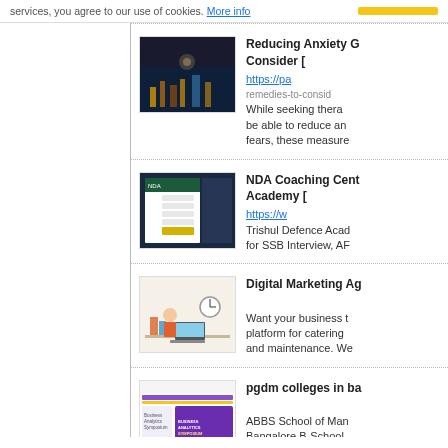services, you agree to our use of cookies. More info
[Figure (screenshot): Thumbnail image showing night city lights, dark blue tones]
Reducing Anxiety G Consider [ https://pa remedies-to-consid While seeking thera be able to reduce an fears, these measure
[Figure (screenshot): Thumbnail image showing NDA coaching website with green form fields]
NDA Coaching Cent Academy [ https://w Trishul Defence Acad for SSB Interview, AF
[Figure (illustration): Digital marketing illustration with cartoon person at desk with clock and laptop]
Digital Marketing Ag Want your business t platform for catering and maintenance. We
[Figure (screenshot): PGDM colleges in Bangalore website screenshot with purple graphic and Business Analytics Symposium text]
pgdm colleges in ba ABBS School of Man Bangalore B-School, training that can trans